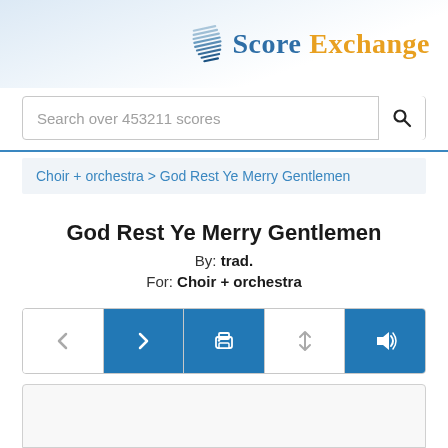[Figure (logo): Score Exchange logo with musical score icon, 'Score' in dark blue and 'Exchange' in orange/gold]
Search over 453211 scores
Choir + orchestra > God Rest Ye Merry Gentlemen
God Rest Ye Merry Gentlemen
By: trad.
For: Choir + orchestra
[Figure (screenshot): Navigation bar with 5 buttons: back arrow (white), forward arrow (blue), print icon (blue), resize/sort icon (white/gray), speaker/audio icon (blue)]
[Figure (screenshot): White score preview area, empty/blank]